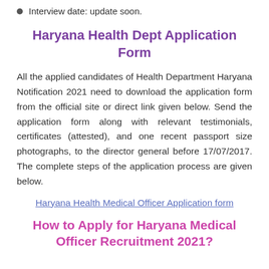Interview date: update soon.
Haryana Health Dept Application Form
All the applied candidates of Health Department Haryana Notification 2021 need to download the application form from the official site or direct link given below. Send the application form along with relevant testimonials, certificates (attested), and one recent passport size photographs, to the director general before 17/07/2017. The complete steps of the application process are given below.
Haryana Health Medical Officer Application form
How to Apply for Haryana Medical Officer Recruitment 2021?